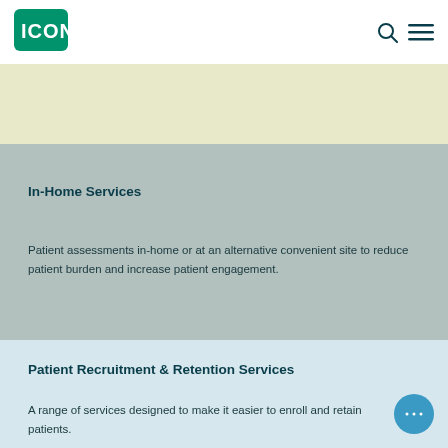ICON
In-Home Services
Patient assessments in-home or at an alternative convenient site to reduce patient burden and increase patient engagement.
Patient Recruitment & Retention Services
A range of services designed to make it easier to enroll and retain patients.